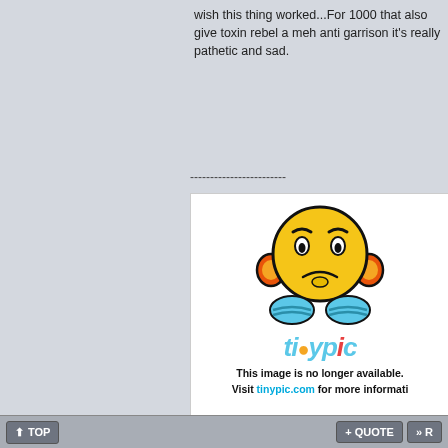wish this thing worked...For 1000 that also give toxin rebel a meh anti garrison it's really pathetic and sad.
------------------------
[Figure (illustration): Tinypic broken image placeholder showing a sad yellow emoji character with orange ear-muffs and blue body, with the tinypic logo and the message: This image is no longer available. Visit tinypic.com for more information.]
TOP   + QUOTE   »